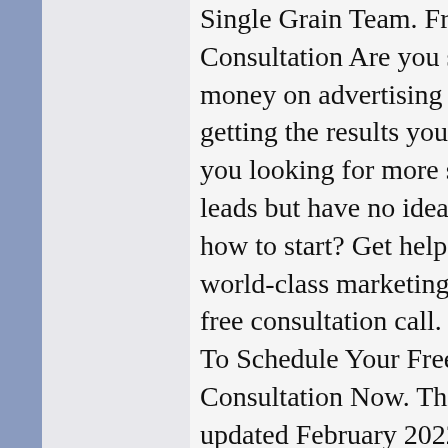Single Grain Team. Free Consultation Are you spending money on advertising but not getting the results you want? Are you looking for more sales and leads but have no idea where or how to start? Get help from our world-class marketing experts on a free consultation call. Click Here To Schedule Your Free Consultation Now. This post was updated February 2022. The SEO world is exciting. Every year, Google makes hundreds of changes to its search engine ranking algorithm. An SEO strategy that worked last year may not work this year, and one that works today may not work next year. If your site isnt driving as much organic traffic as last year, and you are looking to improve your SEO, weve got you covered. In this post, weve broken down the best SEO techniques for 2022 to help you maintain and increase...